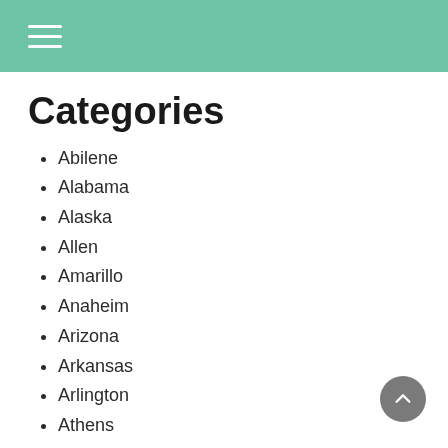Categories
Abilene
Alabama
Alaska
Allen
Amarillo
Anaheim
Arizona
Arkansas
Arlington
Athens
Augusta
Bakersfield
Beaumont
Boca Raton